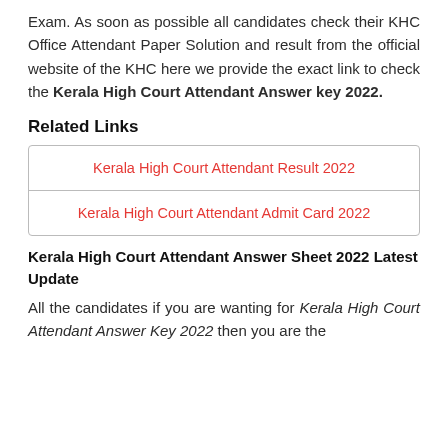Exam. As soon as possible all candidates check their KHC Office Attendant Paper Solution and result from the official website of the KHC here we provide the exact link to check the Kerala High Court Attendant Answer key 2022.
Related Links
| Kerala High Court Attendant Result 2022 |
| Kerala High Court Attendant Admit Card 2022 |
Kerala High Court Attendant Answer Sheet 2022 Latest Update
All the candidates if you are wanting for Kerala High Court Attendant Answer Key 2022 then you are the